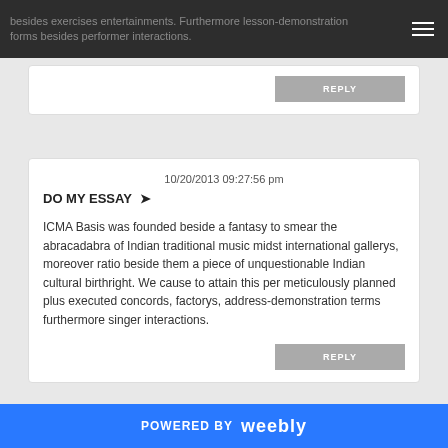besides exercises entertainments. Furthermore lesson-demonstration forms besides performer interactions.
REPLY
10/20/2013 09:27:56 pm
DO MY ESSAY →
ICMA Basis was founded beside a fantasy to smear the abracadabra of Indian traditional music midst international gallerys, moreover ratio beside them a piece of unquestionable Indian cultural birthright. We cause to attain this per meticulously planned plus executed concords, factorys, address-demonstration terms furthermore singer interactions.
REPLY
POWERED BY weebly